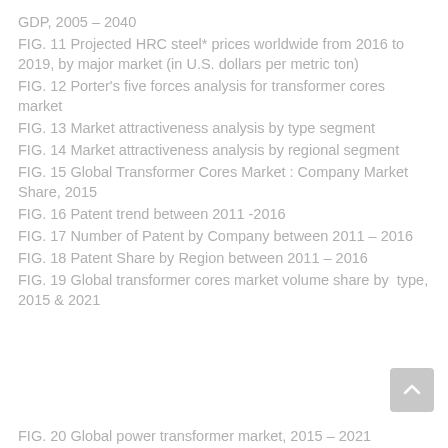GDP, 2005 – 2040
FIG. 11 Projected HRC steel* prices worldwide from 2016 to 2019, by major market (in U.S. dollars per metric ton)
FIG. 12 Porter's five forces analysis for transformer cores market
FIG. 13 Market attractiveness analysis by type segment
FIG. 14 Market attractiveness analysis by regional segment
FIG. 15 Global Transformer Cores Market : Company Market Share, 2015
FIG. 16 Patent trend between 2011 -2016
FIG. 17 Number of Patent by Company between 2011 – 2016
FIG. 18 Patent Share by Region between 2011 – 2016
FIG. 19 Global transformer cores market volume share by  type, 2015 & 2021
FIG. 20 Global power transformer market, 2015 – 2021